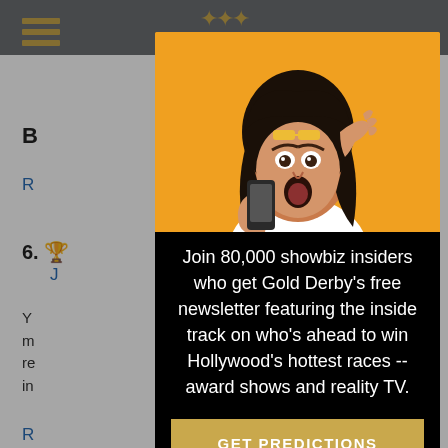[Figure (screenshot): Website background showing navigation bar with hamburger menu and gold star logo, partial article content with number 6 and blue links, and bottom HBO FYC ad banner]
[Figure (photo): Woman with dark hair on yellow/orange background, mouth open in surprise, holding a smartphone up near her face]
Join 80,000 showbiz insiders who get Gold Derby's free newsletter featuring the inside track on who's ahead to win Hollywood's hottest races -- award shows and reality TV.
GET PREDICTIONS
No thanks